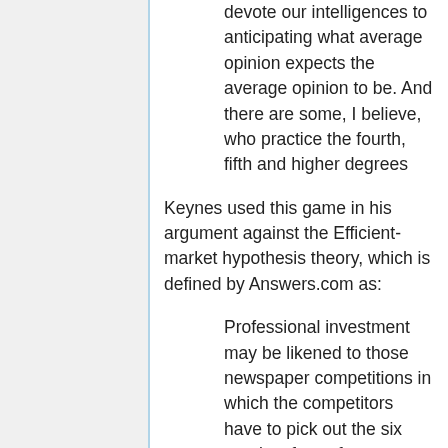devote our intelligences to anticipating what average opinion expects the average opinion to be. And there are some, I believe, who practice the fourth, fifth and higher degrees
Keynes used this game in his argument against the Efficient-market hypothesis theory, which is defined by Answers.com as:
Professional investment may be likened to those newspaper competitions in which the competitors have to pick out the six prettiest faces from a hundred photographs, the price being awarded to the